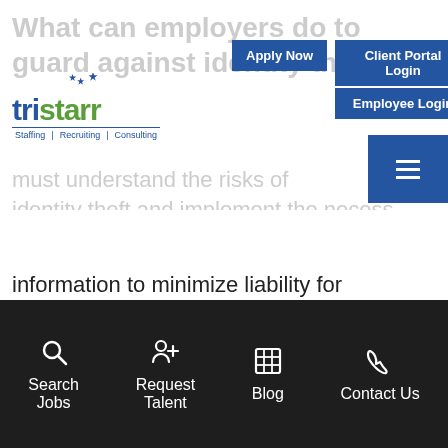What can employers do to guard against identity theft?
[Figure (logo): Tristarr Staffing Recruiting Consulting logo with blue and green text and stars]
Apply Now
Client Portal Login
Employee Login
Employers must understand the risks of identity theft and implement the necessary systems to protect the security of employee information to minimize liability for unauthorized access, breach, or theft of personal information. Just as there are guidelines for individuals, employers can take steps and implement basic practices to minimize identity theft.
Search Jobs | Request Talent | Blog | Contact Us